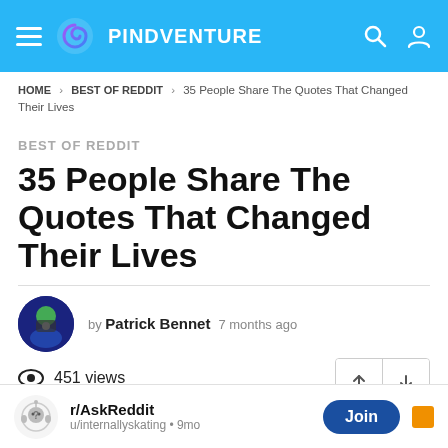PINDVENTURE
HOME > BEST OF REDDIT > 35 People Share The Quotes That Changed Their Lives
BEST OF REDDIT
35 People Share The Quotes That Changed Their Lives
by Patrick Bennet  7 months ago
451 views
r/AskReddit  u/internallyskating • 9mo  Join